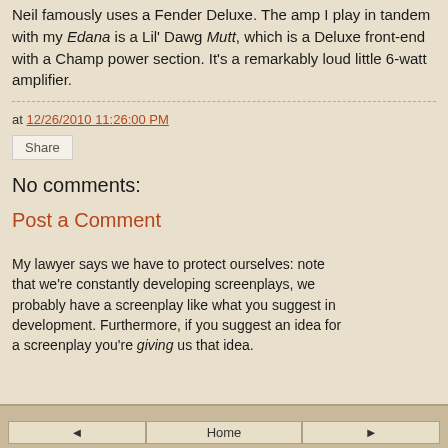Neil famously uses a Fender Deluxe. The amp I play in tandem with my Edana is a Lil' Dawg Mutt, which is a Deluxe front-end with a Champ power section. It's a remarkably loud little 6-watt amplifier.
at 12/26/2010 11:26:00 PM
Share
No comments:
Post a Comment
My lawyer says we have to protect ourselves: note that we're constantly developing screenplays, we probably have a screenplay like what you suggest in development. Furthermore, if you suggest an idea for a screenplay you're giving us that idea.